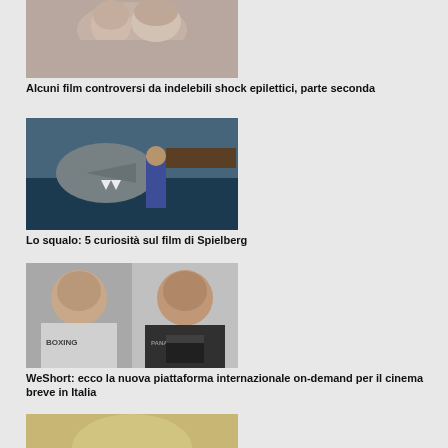[Figure (photo): Young girl with blonde hair looking serious]
Alcuni film controversi da indelebili shock epilettici, parte seconda
[Figure (photo): Shark attacking a person in water, Jaws movie scene]
Lo squalo: 5 curiosità sul film di Spielberg
[Figure (photo): Two men posing, one in boxing hoodie, one in black Panavision t-shirt]
WeShort: ecco la nuova piattaforma internazionale on-demand per il cinema breve in Italia
[Figure (photo): Partial photo at bottom, person visible from chin]